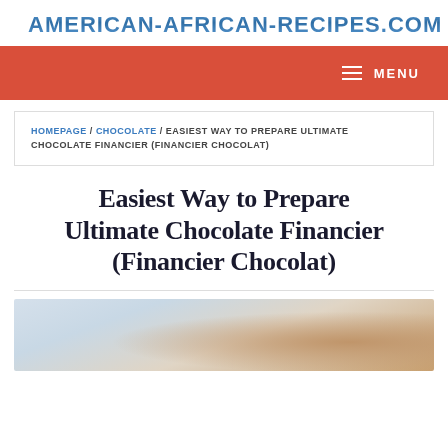AMERICAN-AFRICAN-RECIPES.COM
MENU
HOMEPAGE / CHOCOLATE / EASIEST WAY TO PREPARE ULTIMATE CHOCOLATE FINANCIER (FINANCIER CHOCOLAT)
Easiest Way to Prepare Ultimate Chocolate Financier (Financier Chocolat)
[Figure (photo): Partial photo of chocolate financier dessert, blurred background with warm tones]